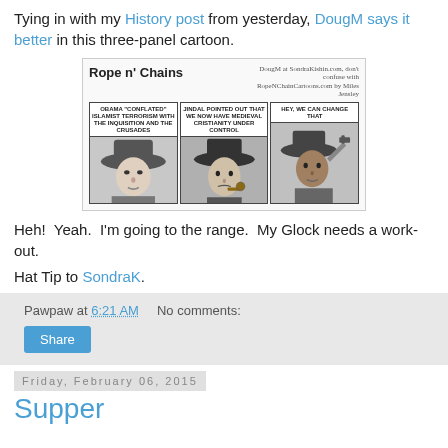Tying in with my History post from yesterday, DougM says it better in this three-panel cartoon.
[Figure (illustration): Three-panel cartoon titled 'Rope n' Chains' by DougM at SondraKishin.com. Panel 1: Obama 'conflated' Islamist terrorism with the Inquisition and the Crusades. Panel 2: Jindal pointed out that we now have medieval Christianity under control. Panel 3: Hey, we can change that. Each panel features a black-and-white western movie character (from The Good, The Bad and The Ugly).]
Heh!  Yeah.  I'm going to the range.  My Glock needs a work-out.
Hat Tip to SondraK.
Pawpaw at 6:21 AM    No comments:
Share
Friday, February 06, 2015
Supper